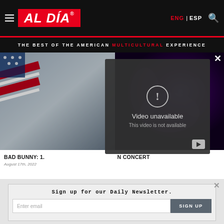AL DÍA — ENG | ESP
THE BEST OF THE AMERICAN MULTICULTURAL EXPERIENCE
[Figure (screenshot): Two article thumbnail images side by side: left shows a flag/patriotic image, right shows a concert/performance scene with purple lighting. A 'Video unavailable / This video is not available' modal overlay is shown in the center with a close X button and a YouTube play button.]
BAD BUNNY: 1.
August 17th, 2022
N CONCERT
Sign up for our Daily Newsletter.
Enter email
SIGN UP